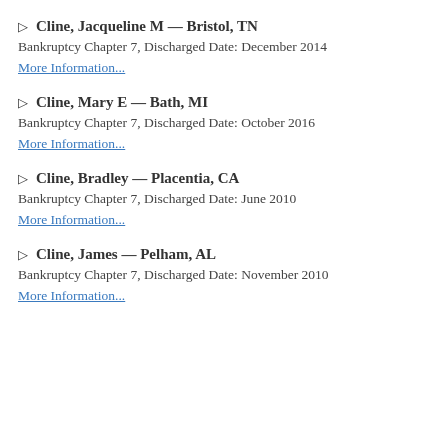▷ Cline, Jacqueline M — Bristol, TN
Bankruptcy Chapter 7, Discharged Date: December 2014
More Information...
▷ Cline, Mary E — Bath, MI
Bankruptcy Chapter 7, Discharged Date: October 2016
More Information...
▷ Cline, Bradley — Placentia, CA
Bankruptcy Chapter 7, Discharged Date: June 2010
More Information...
▷ Cline, James — Pelham, AL
Bankruptcy Chapter 7, Discharged Date: November 2010
More Information...